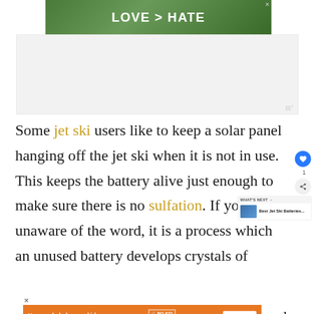[Figure (photo): Advertisement banner showing hands making a heart shape with green foliage background and text 'LOVE > HATE']
[Figure (other): Gray advertisement placeholder block with small icon in bottom right corner]
Some jet ski users like to keep a solar panel hanging off the jet ski when it is not in use. This keeps the battery alive just enough to make sure there is no sulfation. If you are unaware of the word, it is a process which an unused battery develops crystals of le... ov...he
[Figure (other): WHAT'S NEXT card showing Best Jet Ski Batteries... with thumbnail image]
[Figure (other): Bottom advertisement banner: You can help hungry kids. No Kid Hungry. LEARN HOW]